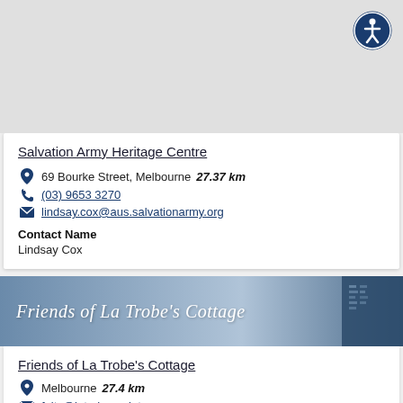[Figure (map): Grey map background area with accessibility icon button in top right corner]
Salvation Army Heritage Centre
69 Bourke Street, Melbourne  27.37 km
(03) 9653 3270
lindsay.cox@aus.salvationarmy.org
Contact Name
Lindsay Cox
[Figure (illustration): Friends of La Trobe's Cottage banner with italic serif text on blue-grey gradient background with dark blue image panel on right]
Friends of La Trobe's Cottage
Melbourne  27.4 km
foltc@latrobesociety.org.au
https://www.foltc.latrobesociety.org.au/index.html
The 'Friends of La Trobe's Cottage' was formed in 2000 under